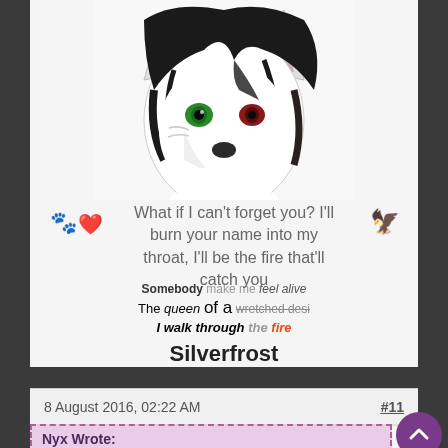[Figure (illustration): Digital illustration of an anthropomorphic wolf/fox character with black hair, green and red eyes, white fur, pointed ears, facing forward]
What if I can't forget you? I'll burn your name into my throat, I'll be the fire that'll catch you
Somebody make me feel alive
The queen of a wretched design
I walk through the fire
Silverfrost
8 August 2016, 02:22 AM
#11
Nyx Wrote: